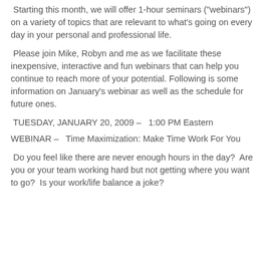Starting this month, we will offer 1-hour seminars ("webinars") on a variety of topics that are relevant to what's going on every day in your personal and professional life.
Please join Mike, Robyn and me as we facilitate these inexpensive, interactive and fun webinars that can help you continue to reach more of your potential. Following is some information on January's webinar as well as the schedule for future ones.
TUESDAY, JANUARY 20, 2009 –   1:00 PM Eastern
WEBINAR –   Time Maximization: Make Time Work For You
Do you feel like there are never enough hours in the day?  Are you or your team working hard but not getting where you want to go?  Is your work/life balance a joke?